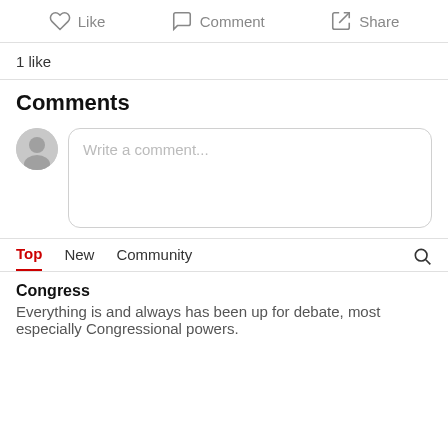Like   Comment   Share
1 like
Comments
Write a comment...
Top   New   Community
Congress
Everything is and always has been up for debate, most especially Congressional powers.